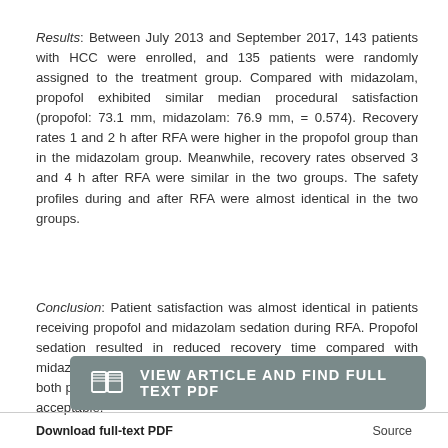Results: Between July 2013 and September 2017, 143 patients with HCC were enrolled, and 135 patients were randomly assigned to the treatment group. Compared with midazolam, propofol exhibited similar median procedural satisfaction (propofol: 73.1 mm, midazolam: 76.9 mm, = 0.574). Recovery rates 1 and 2 h after RFA were higher in the propofol group than in the midazolam group. Meanwhile, recovery rates observed 3 and 4 h after RFA were similar in the two groups. The safety profiles during and after RFA were almost identical in the two groups.
Conclusion: Patient satisfaction was almost identical in patients receiving propofol and midazolam sedation during RFA. Propofol sedation resulted in reduced recovery time compared with midazolam sedation in patients with HCC. The safety profiles of both propofol and midazolam sedation during and after RFA were acceptable.
[Figure (other): Button: VIEW ARTICLE AND FIND FULL TEXT PDF with book icon]
Download full-text PDF    Source